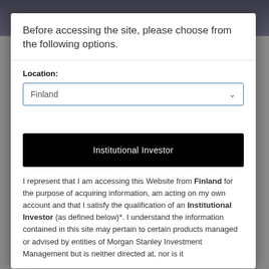Before accessing the site, please choose from the following options.
Location:
Finland
Institutional Investor
I represent that I am accessing this Website from Finland for the purpose of acquiring information, am acting on my own account and that I satisfy the qualification of an Institutional Investor (as defined below)*. I understand the information contained in this site may pertain to certain products managed or advised by entities of Morgan Stanley Investment Management but is neither directed at, nor is it